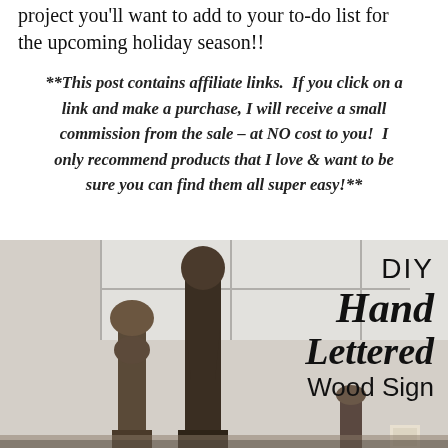project you'll want to add to your to-do list for the upcoming holiday season!!
**This post contains affiliate links.  If you click on a link and make a purchase, I will receive a small commission from the sale – at NO cost to you!  I only recommend products that I love & want to be sure you can find them all super easy!**
[Figure (photo): Photo of dark wooden decorative finials/balusters arranged in front of a bright window, with text overlay reading 'DIY Hand Lettered Wood Sign']